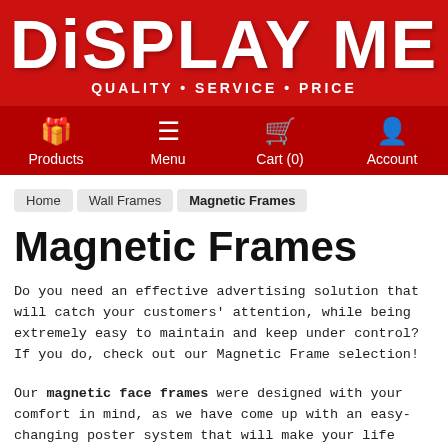[Figure (logo): Display Me logo with white stylized text on red background, tagline QUALITY • SERVICE • PRICE]
Products | Menu | Cart (0) | Account
Home > Wall Frames > Magnetic Frames
Magnetic Frames
Do you need an effective advertising solution that will catch your customers' attention, while being extremely easy to maintain and keep under control? If you do, check out our Magnetic Frame selection!
Our magnetic face frames were designed with your comfort in mind, as we have come up with an easy-changing poster system that will make your life